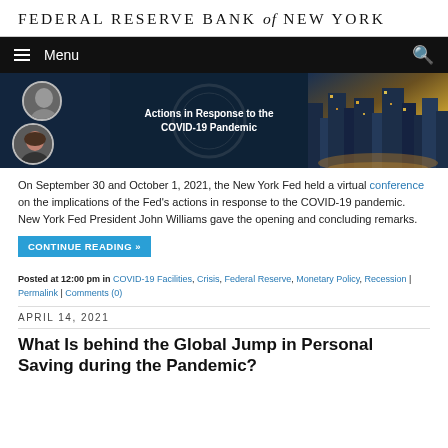FEDERAL RESERVE BANK of NEW YORK
[Figure (screenshot): Navigation bar with hamburger menu icon, 'Menu' text, and search icon on dark background]
[Figure (photo): Banner image showing two circular portrait photos on dark blue background with text 'Actions in Response to the COVID-19 Pandemic' and a city aerial night view on the right]
On September 30 and October 1, 2021, the New York Fed held a virtual conference on the implications of the Fed's actions in response to the COVID-19 pandemic. New York Fed President John Williams gave the opening and concluding remarks.
CONTINUE READING »
Posted at 12:00 pm in COVID-19 Facilities, Crisis, Federal Reserve, Monetary Policy, Recession | Permalink | Comments (0)
APRIL 14, 2021
What Is behind the Global Jump in Personal Saving during the Pandemic?